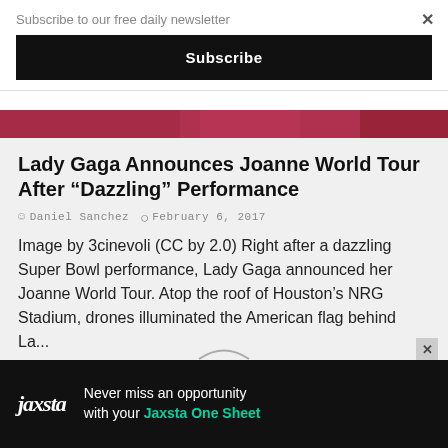Subscribe to our free daily newsletter
Subscribe
[Figure (photo): Partial image of Lady Gaga performance, colorful lights]
Lady Gaga Announces Joanne World Tour After “Dazzling” Performance
Daniel Sanchez   February 6, 2017
Image by 3cinevoli (CC by 2.0) Right after a dazzling Super Bowl performance, Lady Gaga announced her Joanne World Tour. Atop the roof of Houston’s NRG Stadium, drones illuminated the American flag behind La...
READ MORE...
Never miss an opportunity with your Jaxsta One Sheet